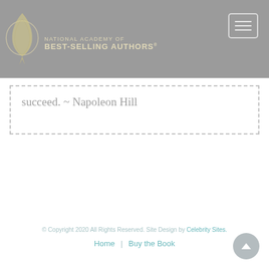[Figure (logo): National Academy of Best-Selling Authors logo with feather quill in circle and text]
succeed. ~ Napoleon Hill
© Copyright 2020 All Rights Reserved. Site Design by Celebrity Sites.
Home | Buy the Book